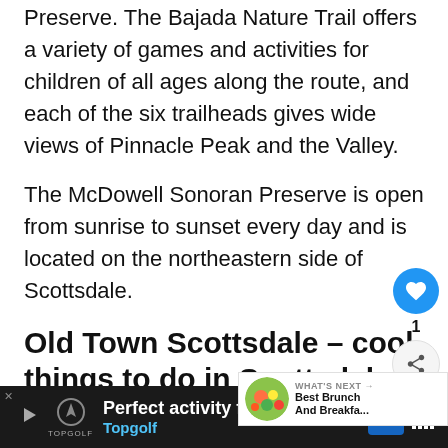Preserve. The Bajada Nature Trail offers a variety of games and activities for children of all ages along the route, and each of the six trailheads gives wide views of Pinnacle Peak and the Valley.
The McDowell Sonoran Preserve is open from sunrise to sunset every day and is located on the northeastern side of Scottsdale.
Old Town Scottsdale – cool things to do in Scottsdale
The Old Town Scottsdale Farmers Market, Brown Avenue, offers a diverse selection of locally grown produce and gourmet goods.
[Figure (other): WHAT'S NEXT widget with food image thumbnail and text 'Best Brunch And Breakfa...']
[Figure (other): Advertisement banner for Topgolf: 'Perfect activity for everyone' with Topgolf logo and navigation/signal icons]